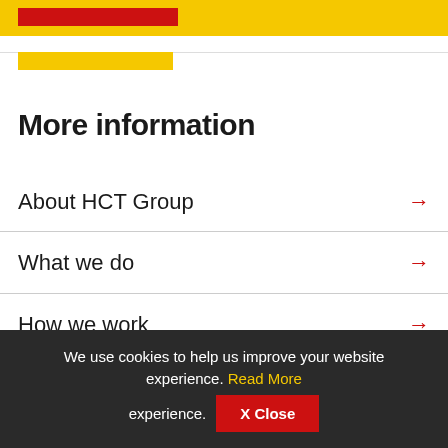[Figure (other): Yellow top navigation banner with a red bar accent inside]
[Figure (other): Yellow accent bar below top banner with thin gray divider line]
More information
About HCT Group →
What we do →
How we work →
Innovation and change →
We use cookies to help us improve your website experience. Read More  X Close